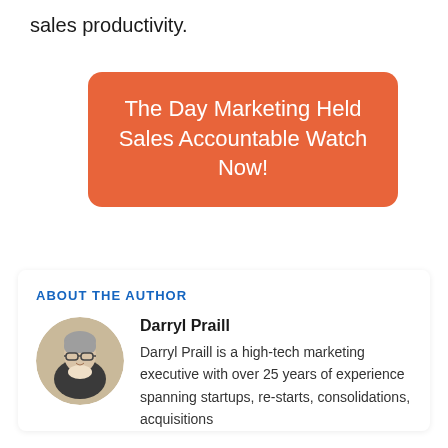sales productivity.
[Figure (other): Orange rounded rectangle call-to-action button with white text reading: The Day Marketing Held Sales Accountable Watch Now!]
ABOUT THE AUTHOR
[Figure (photo): Circular headshot photo of Darryl Praill, a middle-aged man with grey hair and glasses wearing a dark blazer]
Darryl Praill
Darryl Praill is a high-tech marketing executive with over 25 years of experience spanning startups, re-starts, consolidations, acquisitions